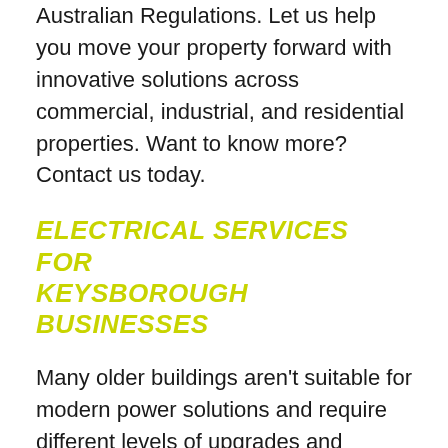Australian Regulations. Let us help you move your property forward with innovative solutions across commercial, industrial, and residential properties. Want to know more? Contact us today.
ELECTRICAL SERVICES FOR KEYSBOROUGH BUSINESSES
Many older buildings aren't suitable for modern power solutions and require different levels of upgrades and installations. At Eco Electrical Services, we take on jobs of any size from full-scale installations to small upgrades of existing infrastructure. When working in the industrial sector, great care needs to be taken to ensure public safety. When toxic building